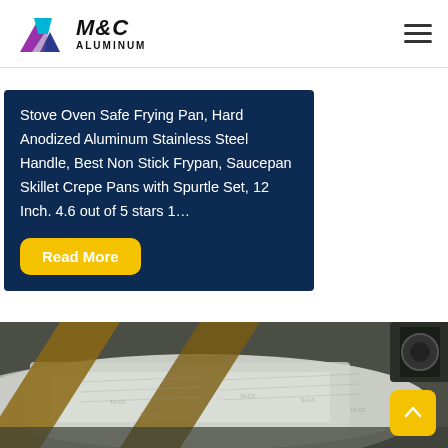[Figure (logo): M&C Aluminum logo with triangular geometric shape in blue, cyan, and purple/magenta colors, with company name M&C ALUMINUM in bold italic text]
Stove Oven Safe Frying Pan, Hard Anodized Aluminum Stainless Steel Handle, Best Non Stick Frypan, Saucepan Skillet Crepe Pans with Spurtle Set, 12 Inch. 4.6 out of 5 stars 1…
Read More
[Figure (photo): Photo of aluminum sheets/rolls with paper interleaving in an industrial or warehouse setting, viewed from above at an angle]